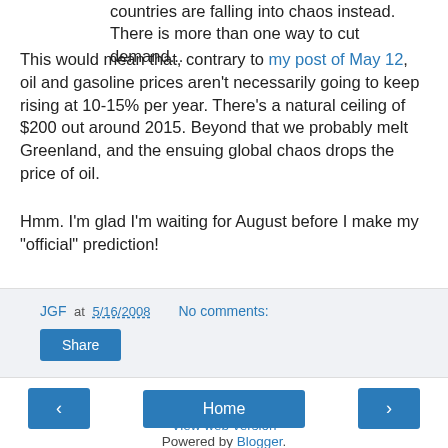countries are falling into chaos instead. There is more than one way to cut demand...
This would mean that, contrary to my post of May 12, oil and gasoline prices aren't necessarily going to keep rising at 10-15% per year. There's a natural ceiling of $200 out around 2015. Beyond that we probably melt Greenland, and the ensuing global chaos drops the price of oil.
Hmm. I'm glad I'm waiting for August before I make my "official" prediction!
JGF at 5/16/2008   No comments:
Share
‹  Home  ›
View web version
Powered by Blogger.